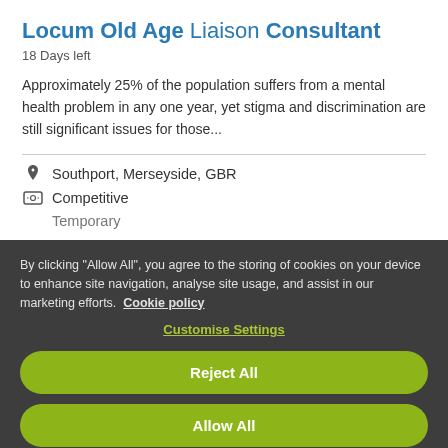Locum Old Age Liaison Consultant
18 Days left
Approximately 25% of the population suffers from a mental health problem in any one year, yet stigma and discrimination are still significant issues for those...
Southport, Merseyside, GBR
Competitive
Temporary
By clicking "Allow All", you agree to the storing of cookies on your device to enhance site navigation, analyse site usage, and assist in our marketing efforts. Cookie policy
Customise Settings
Reject All
Allow All